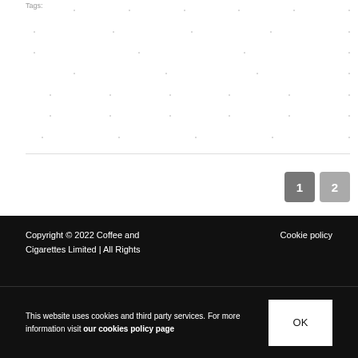Tags: · · · · · · · · · · · · · · · · · · · · · · · · · · · · · · · · · · · · · · · · · · · · · · · · · · · · · · · · · · · · · · · · · · · · · · · · · · · · · · · · · · · · · ·
1  2
Copyright © 2022 Coffee and Cigarettes Limited | All Rights
Cookie policy
This website uses cookies and third party services. For more information visit our cookies policy page
OK